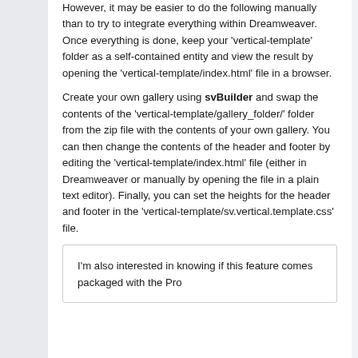However, it may be easier to do the following manually than to try to integrate everything within Dreamweaver. Once everything is done, keep your 'vertical-template' folder as a self-contained entity and view the result by opening the 'vertical-template/index.html' file in a browser.
Create your own gallery using svBuilder and swap the contents of the 'vertical-template/gallery_folder/' folder from the zip file with the contents of your own gallery. You can then change the contents of the header and footer by editing the 'vertical-template/index.html' file (either in Dreamweaver or manually by opening the file in a plain text editor). Finally, you can set the heights for the header and footer in the 'vertical-template/sv.vertical.template.css' file.
I'm also interested in knowing if this feature comes packaged with the Pro